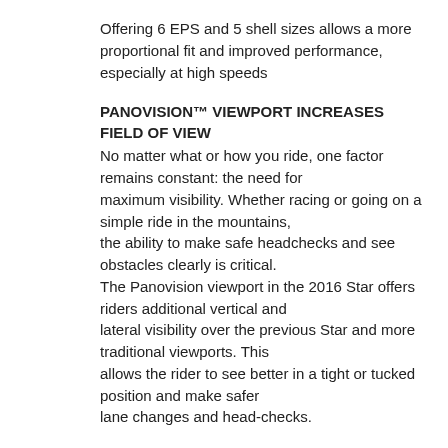Offering 6 EPS and 5 shell sizes allows a more proportional fit and improved performance, especially at high speeds
PANOVISION™ VIEWPORT INCREASES FIELD OF VIEW
No matter what or how you ride, one factor remains constant: the need for maximum visibility. Whether racing or going on a simple ride in the mountains, the ability to make safe headchecks and see obstacles clearly is critical. The Panovision viewport in the 2016 Star offers riders additional vertical and lateral visibility over the previous Star and more traditional viewports. This allows the rider to see better in a tight or tucked position and make safer lane changes and head-checks.
FLEX IMPACT LINER
A first-of-its kind, three-layer impact liner designed to manage energy from three potential impact scenarios: low, mid and high-speed
TeXTREME® CARBON SHELL